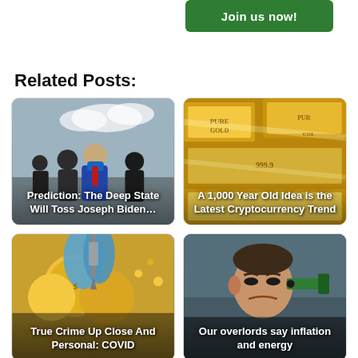[Figure (other): Green 'Join us now!' button]
Related Posts:
[Figure (photo): Photo of people in masks outdoors with text overlay: Prediction: The Deep State Will Toss Joseph Biden…]
[Figure (photo): Photo of gold bars with text overlay: A 1,000 Year Old Idea is the Latest Cryptocurrency Trend]
[Figure (illustration): Comic-style illustration with text overlay: True Crime Up Close And Personal: COVID]
[Figure (photo): Photo of man with pained expression and text overlay: Our overlords say inflation and energy]